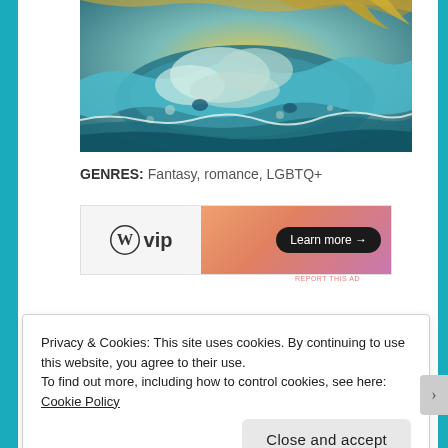[Figure (illustration): Fantasy illustration showing a stylized whale or ocean creature with teal waves, golden swirls, and ethereal clouds in an Art Nouveau style. Colorful palette of teal, gold, and purple.]
GENRES: Fantasy, romance, LGBTQ+
[Figure (other): WordPress VIP advertisement banner. Left side shows WordPress logo (W in circle) and 'vip' text on light background. Right side shows peach/salmon gradient with 'Learn more →' button in dark pill shape.]
REPORT THIS AD
Privacy & Cookies: This site uses cookies. By continuing to use this website, you agree to their use. To find out more, including how to control cookies, see here: Cookie Policy
Close and accept